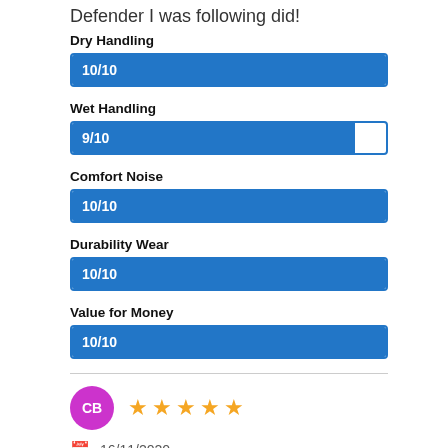Defender I was following did!
[Figure (bar-chart): Ratings]
[Figure (other): User avatar circle with initials CB and 5 orange stars rating]
16/11/2020